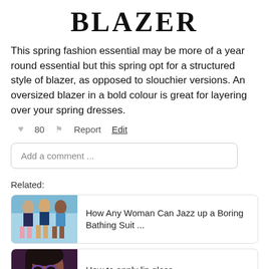BLAZER
This spring fashion essential may be more of a year round essential but this spring opt for a structured style of blazer, as opposed to slouchier versions. An oversized blazer in a bold colour is great for layering over your spring dresses.
♥ 80  ⚑ Report  Edit
Add a comment ...
Related:
How Any Woman Can Jazz up a Boring Bathing Suit ...
How to apply lip gloss